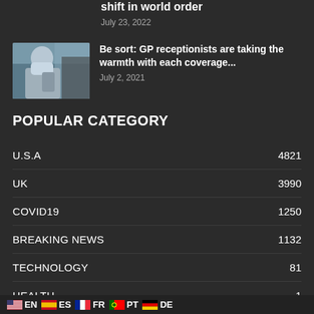shift in world order
July 23, 2022
[Figure (photo): Person wearing a face mask, near a phone or device]
Be sort: GP receptionists are taking the warmth with each coverage...
July 2, 2021
POPULAR CATEGORY
U.S.A  4821
UK  3990
COVID19  1250
BREAKING NEWS  1132
TECHNOLOGY  81
HEALTH  1
BUSINESS  0
EN  ES  FR  PT  DE
LILIANA'S TOP NEWS  0